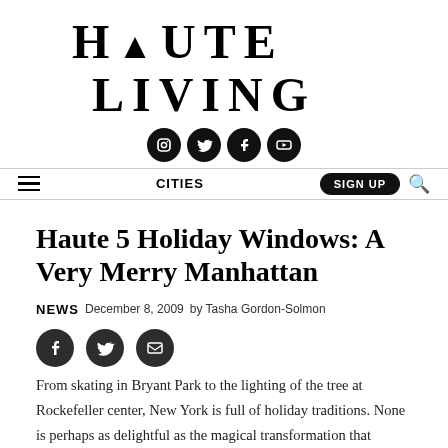Haute Living
[Figure (other): Social media icons: Instagram, Twitter, Facebook, YouTube]
[Figure (other): Navigation bar with hamburger menu, CITIES label, SIGN UP button and search icon]
Haute 5 Holiday Windows: A Very Merry Manhattan
NEWS  December 8, 2009  by Tasha Gordon-Solmon
[Figure (other): Article social share icons: Facebook, Twitter, Email]
From skating in Bryant Park to the lighting of the tree at Rockefeller center, New York is full of holiday traditions. None is perhaps as delightful as the magical transformation that occurs in the city’s best department store windows. All within a 10-block radius, our haute 5 Christmas windows are smart, silly, decadent and full (and I mean full) of glitter. We